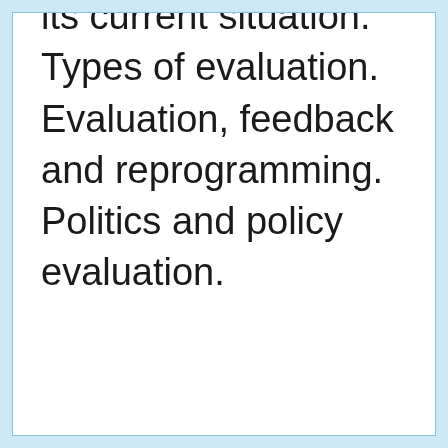its current situation. Types of evaluation. Evaluation, feedback and reprogramming. Politics and policy evaluation.